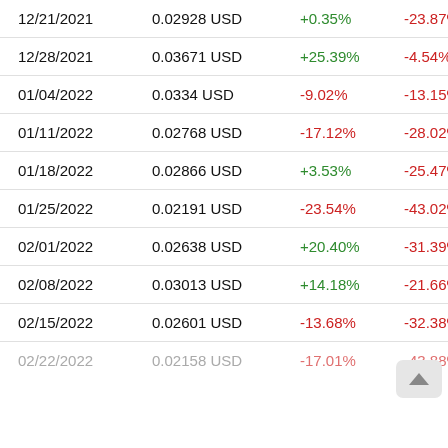| Date | Price | Weekly Change | YTD Change |
| --- | --- | --- | --- |
| 12/21/2021 | 0.02928 USD | +0.35% | -23.87% |
| 12/28/2021 | 0.03671 USD | +25.39% | -4.54% |
| 01/04/2022 | 0.0334 USD | -9.02% | -13.15% |
| 01/11/2022 | 0.02768 USD | -17.12% | -28.02% |
| 01/18/2022 | 0.02866 USD | +3.53% | -25.47% |
| 01/25/2022 | 0.02191 USD | -23.54% | -43.02% |
| 02/01/2022 | 0.02638 USD | +20.40% | -31.39% |
| 02/08/2022 | 0.03013 USD | +14.18% | -21.66% |
| 02/15/2022 | 0.02601 USD | -13.68% | -32.38% |
| 02/22/2022 | 0.02158 USD | -17.01% | -43.88% |